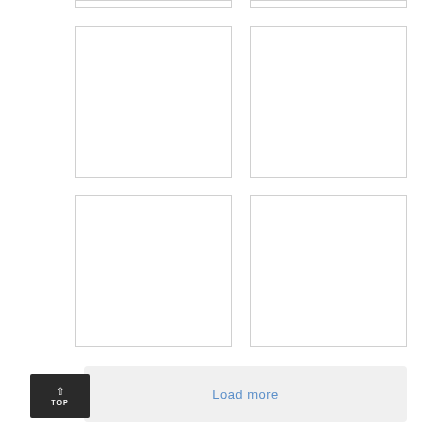[Figure (other): Blank image placeholder box, top left (partial, clipped at top)]
[Figure (other): Blank image placeholder box, top right (partial, clipped at top)]
[Figure (other): Blank image placeholder box, middle row left]
[Figure (other): Blank image placeholder box, middle row right]
[Figure (other): Blank image placeholder box, lower row left]
[Figure (other): Blank image placeholder box, lower row right]
Load more
TOP